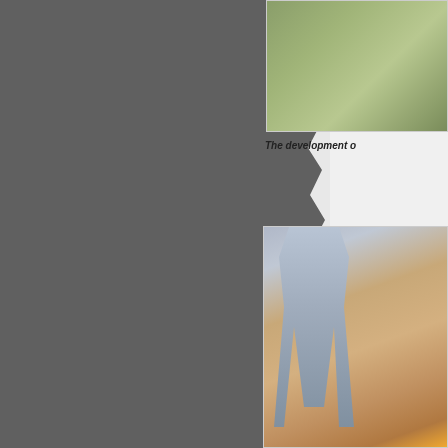[Figure (photo): Aerial or landscape photograph showing green ground cover or vegetation, partially visible at top right]
The development o[f...]
Looking after the dem[and...] MR5's as well- the ca[rs were...] accommodated, and [...] A50 and his Lola T33[...]
[Figure (photo): Person in grey jacket leaning over or working near an orange racing car, with sandy/dirt ground visible]